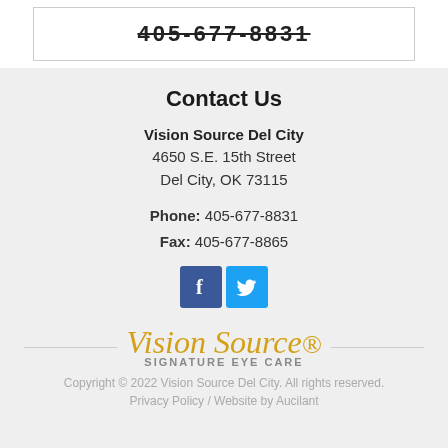405-677-8831
Contact Us
Vision Source Del City
4650 S.E. 15th Street
Del City, OK 73115
Phone: 405-677-8831
Fax: 405-677-8865
[Figure (logo): Facebook and Twitter social media icons]
[Figure (logo): Vision Source Signature Eye Care logo with decorative script text and horizontal rules]
Copyright © 2022 Vision Source Del City. All rights reserved.
Privacy Policy / Website by Aucilant